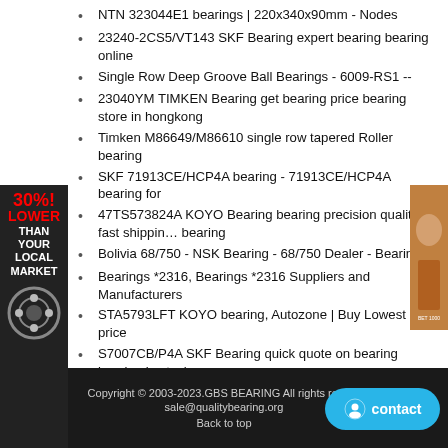NTN 323044E1 bearings | 220x340x90mm - Nodes
23240-2CS5/VT143 SKF Bearing expert bearing bearing online
Single Row Deep Groove Ball Bearings - 6009-RS1 --
23040YM TIMKEN Bearing get bearing price bearing store in hongkong
Timken M86649/M86610 single row tapered Roller bearing
SKF 71913CE/HCP4A bearing - 71913CE/HCP4A bearing for
47TS573824A KOYO Bearing bearing precision quality fast shipping bearing
Bolivia 68/750 - NSK Bearing - 68/750 Dealer - Bearing
Bearings *2316, Bearings *2316 Suppliers and Manufacturers
STA5793LFT KOYO bearing, Autozone | Buy Lowest price
S7007CB/P4A SKF Bearing quick quote on bearing bearing in stock now
W608-2RS1/VP311 SKF Bearing bearings in stock high quality bearing price
HW3/4 INA Bearing bearing online store bearing stock
Copyright © 2003-2023.GBS BEARING All rights reserved  sale@qualitybearing.org  Back to top